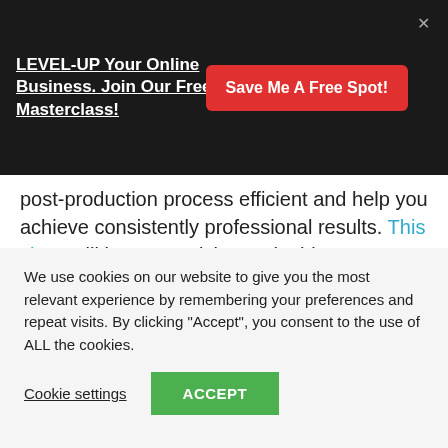LEVEL-UP Your Online Business. Join Our Free Masterclass!
Save Me A Free Spot!
post-production process efficient and help you achieve consistently professional results. This class will be your quick start in this program.
[Figure (other): Broken image placeholder labeled 'Lightroom Tutorials-Step by Step']
We use cookies on our website to give you the most relevant experience by remembering your preferences and repeat visits. By clicking “Accept”, you consent to the use of ALL the cookies.
Cookie settings
ACCEPT